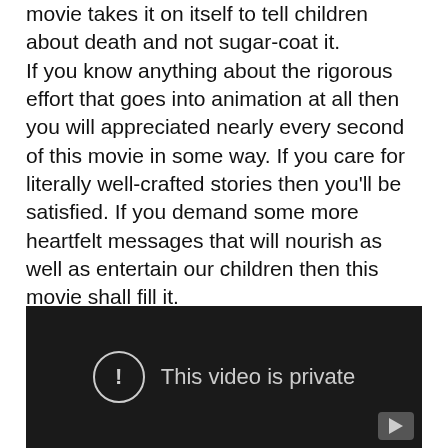movie takes it on itself to tell children about death and not sugar-coat it.
If you know anything about the rigorous effort that goes into animation at all then you will appreciated nearly every second of this movie in some way. If you care for literally well-crafted stories then you’ll be satisfied. If you demand some more heartfelt messages that will nourish as well as entertain our children then this movie shall fill it.
[Figure (screenshot): A dark video player showing 'This video is private' message with an exclamation mark icon in a circle, and a play button in the bottom right corner.]